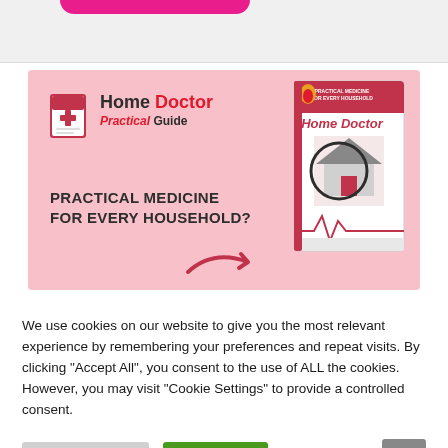[Figure (illustration): Home Doctor Practical Guide advertisement banner with pink background, book logo, text 'PRACTICAL MEDICINE FOR EVERY HOUSEHOLD?' and a book cover illustration showing a stethoscope and house]
We use cookies on our website to give you the most relevant experience by remembering your preferences and repeat visits. By clicking "Accept All", you consent to the use of ALL the cookies. However, you may visit "Cookie Settings" to provide a controlled consent.
Cookie Settings | Accept All